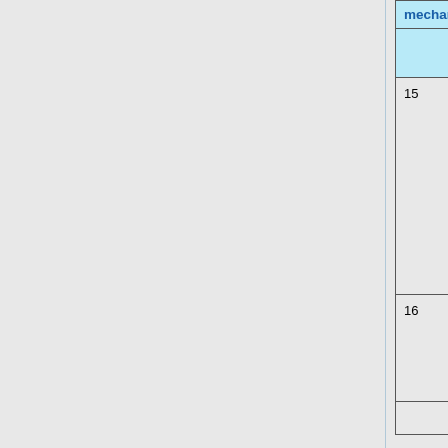| # | Option name | Description |
| --- | --- | --- |
|  | You can turn all of these options off if you want to implement your own mechanism (e.g "tropch...) |  |
| 15 | Input_Opt%LGRAVSTRAT |  |
| 16 | Input_Opt%LSOLIDPSC |  |